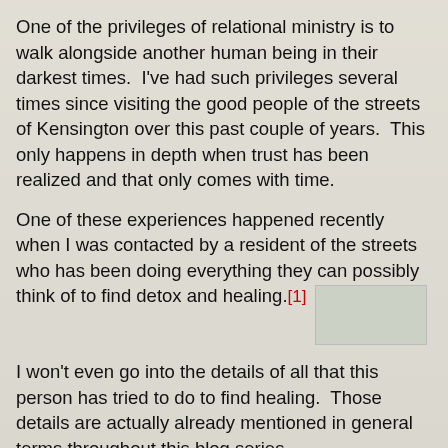One of the privileges of relational ministry is to walk alongside another human being in their darkest times.  I've had such privileges several times since visiting the good people of the streets of Kensington over this past couple of years.  This only happens in depth when trust has been realized and that only comes with time.
One of these experiences happened recently when I was contacted by a resident of the streets who has been doing everything they can possibly think of to find detox and healing.[1]
[Figure (photo): Small street-level photo thumbnail embedded inline after the footnote reference [1]]
I won't even go into the details of all that this person has tried to do to find healing.  Those details are actually already mentioned in general terms throughout this blog series.
Imagine if you will, being required by your body to inject a drug that you are well aware may kill you before you can even remove the needle from your being.  If you are a lady on the street, imagine knowing that your only source of income to buy that drug that may kill you is to rent out your